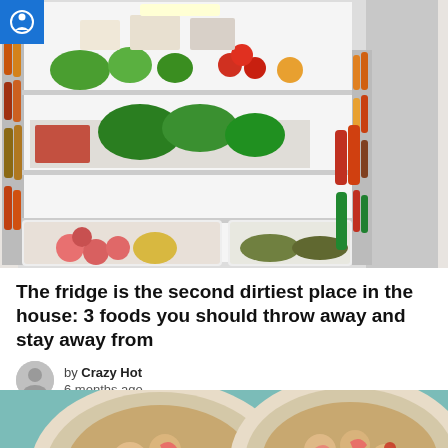[Figure (photo): Open refrigerator full of vegetables, fruits, condiments, and food items on multiple shelves]
The fridge is the second dirtiest place in the house: 3 foods you should throw away and stay away from
by Crazy Hot
6 months ago
[Figure (photo): Two plates of shrimp fried rice / seafood pasta dishes on a teal background]